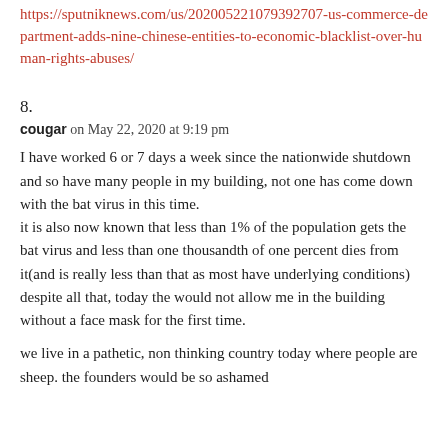https://sputniknews.com/us/202005221079392707-us-commerce-department-adds-nine-chinese-entities-to-economic-blacklist-over-human-rights-abuses/
8.
cougar on May 22, 2020 at 9:19 pm
I have worked 6 or 7 days a week since the nationwide shutdown and so have many people in my building, not one has come down with the bat virus in this time.
it is also now known that less than 1% of the population gets the bat virus and less than one thousandth of one percent dies from it(and is really less than that as most have underlying conditions)
despite all that, today the would not allow me in the building without a face mask for the first time.
we live in a pathetic, non thinking country today where people are sheep. the founders would be so ashamed